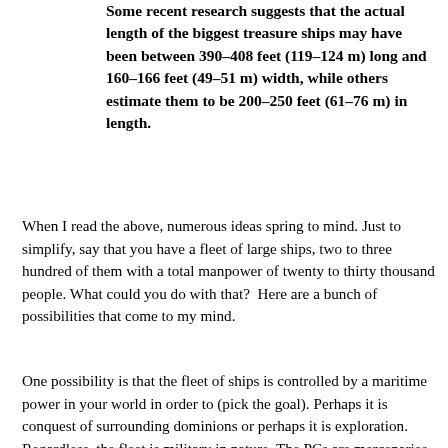Some recent research suggests that the actual length of the biggest treasure ships may have been between 390–408 feet (119–124 m) long and 160–166 feet (49–51 m) width, while others estimate them to be 200–250 feet (61–76 m) in length.
When I read the above, numerous ideas spring to mind. Just to simplify, say that you have a fleet of large ships, two to three hundred of them with a total manpower of twenty to thirty thousand people. What could you do with that?  Here are a bunch of possibilities that come to my mind.
One possibility is that the fleet of ships is controlled by a maritime power in your world in order to (pick the goal). Perhaps it is conquest of surrounding dominions or perhaps it is exploration.  Regardless, the fleet is military in nature. The PCs are mercenaries in the employ of the government, either in possession of their own ship or based on one of the many barracks ships that are accompanying the expedition. Or maybe they are spies of a competing power, trying to thwart the aims of the fleet.  This idea could work for any level of PCs. Low level PCs could interact with the common